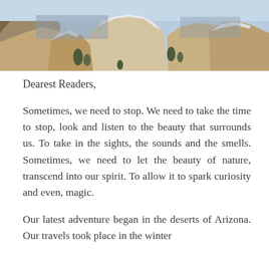[Figure (photo): Photograph of snow-dusted sandstone rock formations with canyon landscape and blue sky in the background, likely the Grand Canyon in winter.]
Dearest Readers,
Sometimes, we need to stop. We need to take the time to stop, look and listen to the beauty that surrounds us. To take in the sights, the sounds and the smells. Sometimes, we need to let the beauty of nature, transcend into our spirit. To allow it to spark curiosity and even, magic.
Our latest adventure began in the deserts of Arizona. Our travels took place in the winter months of early February. Surprisingly,